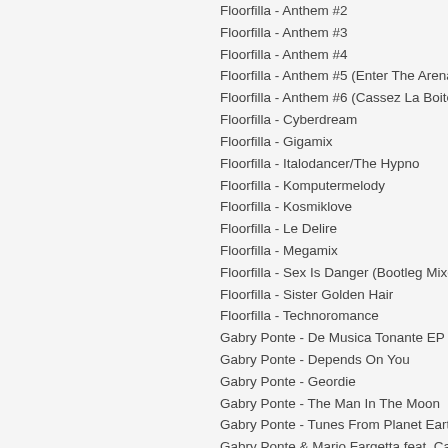Floorfilla - Anthem #2
Floorfilla - Anthem #3
Floorfilla - Anthem #4
Floorfilla - Anthem #5 (Enter The Arena)
Floorfilla - Anthem #6 (Cassez La Boite)
Floorfilla - Cyberdream
Floorfilla - Gigamix
Floorfilla - Italodancer/The Hypno
Floorfilla - Komputermelody
Floorfilla - Kosmiklove
Floorfilla - Le Delire
Floorfilla - Megamix
Floorfilla - Sex Is Danger (Bootleg Mixes)
Floorfilla - Sister Golden Hair
Floorfilla - Technoromance
Gabry Ponte - De Musica Tonante EP
Gabry Ponte - Depends On You
Gabry Ponte - Geordie
Gabry Ponte - The Man In The Moon
Gabry Ponte - Tunes From Planet Earth Acco...
Gabry Ponte & Mario Fargetta feat. Carl - Mu...
Gabry Ponte feat. Little Tony - Figli Di Pitago...
Gala - Everyone Has Inside
Gemini Station - My Radio
GEU feat. G.Y.T. - Voui Ballare